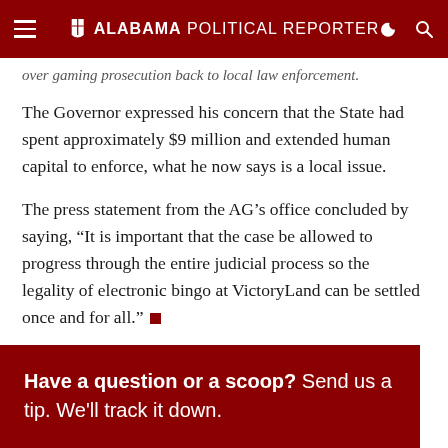Alabama Political Reporter
over gaming prosecution back to local law enforcement.
The Governor expressed his concern that the State had spent approximately $9 million and extended human capital to enforce, what he now says is a local issue.
The press statement from the AG's office concluded by saying, “It is important that the case be allowed to progress through the entire judicial process so the legality of electronic bingo at VictoryLand can be settled once and for all.”
Have a question or a scoop? Send us a tip. We'll track it down.